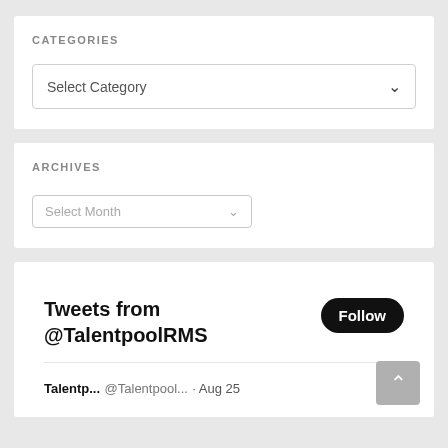CATEGORIES
Select Category
ARCHIVES
Select Month
Tweets from @TalentpoolRMS
Follow
Talentp... @Talentpool... · Aug 25